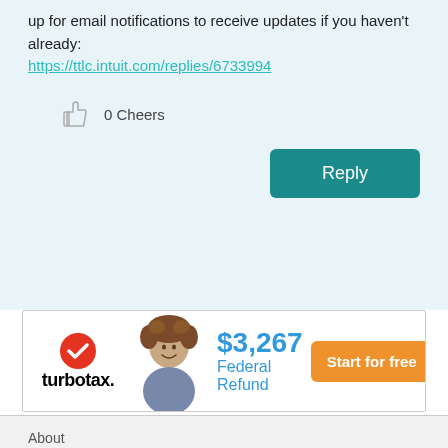up for email notifications to receive updates if you haven't already:
https://ttlc.intuit.com/replies/6733994
0 Cheers
Reply
[Figure (advertisement): TurboTax advertisement banner showing a woman with curly hair, the TurboTax logo, '$3,267 Federal Refund' text, and an orange 'Start for free' button]
About
TurboTax guarantees
TurboTax security and fraud protection
Tax forms included with TurboTax
TurboTax Live en español